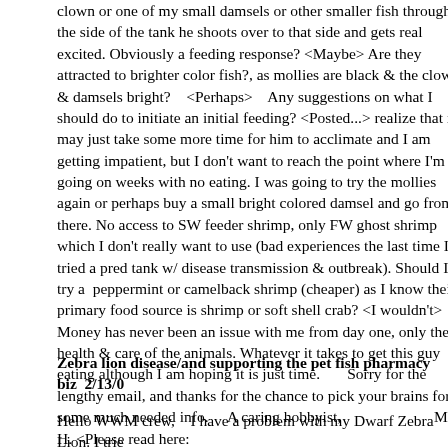clown or one of my small damsels or other smaller fish through the side of the tank he shoots over to that side and gets real excited. Obviously a feeding response? <Maybe> Are they attracted to brighter color fish?, as mollies are black & the clowns & damsels bright?    <Perhaps>    Any suggestions on what I should do to initiate an initial feeding? <Posted...> realize that it may just take some more time for him to acclimate and I am getting impatient, but I don't want to reach the point where I'm going on weeks with no eating. I was going to try the mollies again or perhaps buy a small bright colored damsel and go from there. No access to SW feeder shrimp, only FW ghost shrimp which I don't really want to use (bad experiences the last time I tried a pred tank w/ disease transmission & outbreak). Should I try a  peppermint or camelback shrimp (cheaper) as I know their primary food source is shrimp or soft shell crab? <I wouldn't> Money has never been an issue with me from day one, only the health & care of the animals. Whatever it takes to get this guy eating although I am hoping it is just time.       Sorry for the lengthy email, and thanks for the chance to pick your brains for some much needed info.      A caring hobbyist,                        Matt H. <Please read here: http://wetwebmedia.com/dwflionfdgfaqs.htm and the linked files above. Bob Fenner>
Zebra lion disease/and supporting the pet fish pharmacy biz  2/13/0
Hello WWM crew,    I have a problem with my Dwarf Zebra Lion. I tried doing searches on your site and Google and didn't really find anything